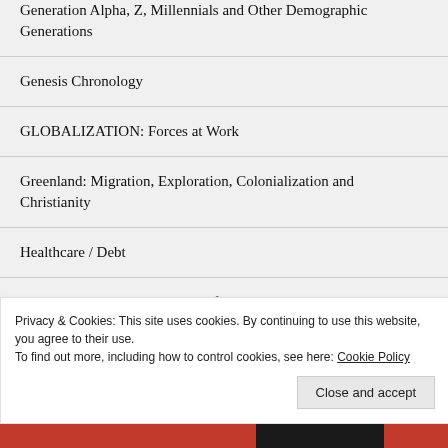Generation Alpha, Z, Millennials and Other Demographic Generations
Genesis Chronology
GLOBALIZATION: Forces at Work
Greenland: Migration, Exploration, Colonialization and Christianity
Healthcare / Debt
HINDUISM: India – Timeline of History
Advertisements
Privacy & Cookies: This site uses cookies. By continuing to use this website, you agree to their use.
To find out more, including how to control cookies, see here: Cookie Policy
Close and accept